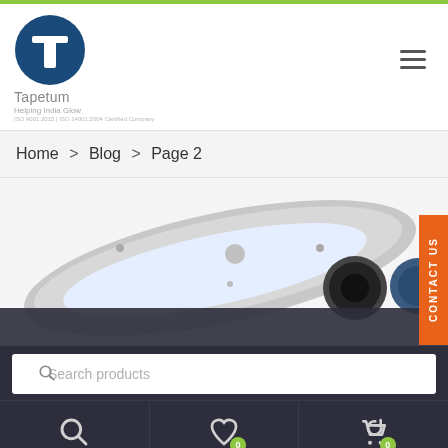[Figure (logo): Tapetum company logo - blue circle with white letter T, company name Tapetum, tagline Helping India Glow, ISO certification text]
Home > Blog > Page 2
CONTACT US
[Figure (photo): Close-up product photo of LED street lights and lamp fixtures in silver/grey finish against white background, with dark footer overlay]
Search products